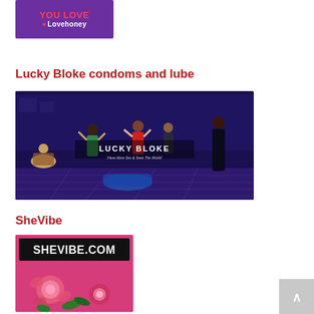[Figure (logo): Lovehoney logo: purple background with 'YOU LOVE' in red/pink bold text and 'Lovehoney' in white with a red heart icon]
Lucky Bloke condoms and lube
[Figure (illustration): Lucky Bloke animated illustration showing people dancing in a nightclub setting with 'LUCKY BLOKE' text overlay on a dark purple/navy background]
SheVibe
[Figure (illustration): SheVibe.com logo/banner with pink background, stylized roses illustration and 'SHEVIBE.COM' text in bold black letters]